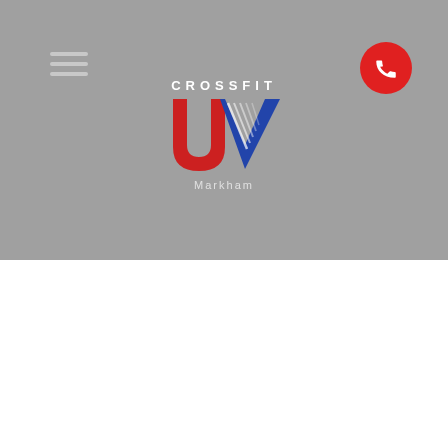[Figure (logo): CrossFit UV Markham logo with hamburger menu and phone button on grey hero background]
CHRISTMAS SURVIVAL